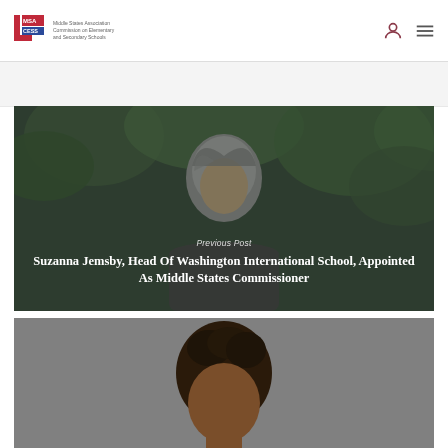[Figure (logo): MSA CESS Commission on Elementary and Secondary Schools logo with stylized L shape in red and blue]
[Figure (photo): Woman with gray hair against green foliage background, overlaid with text about previous post]
Previous Post
Suzanna Jemsby, Head Of Washington International School, Appointed As Middle States Commissioner
[Figure (photo): Partial view of a man with short dark hair against gray background, bottom of page]